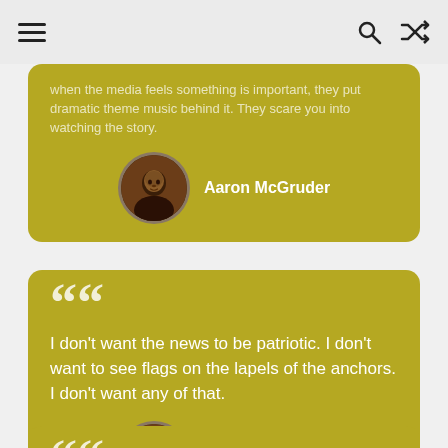[Figure (screenshot): Navigation bar with hamburger menu icon, search icon, and shuffle icon on a light gray background]
...when the media feels something is important, they put dramatic theme music behind it. They scare you into watching the story.
Aaron McGruder
I don't want the news to be patriotic. I don't want to see flags on the lapels of the anchors. I don't want any of that.
Aaron McGruder